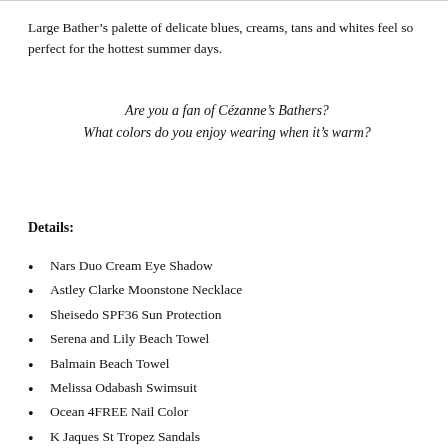Large Bather’s palette of delicate blues, creams, tans and whites feel so perfect for the hottest summer days.
Are you a fan of Cézanne’s Bathers? What colors do you enjoy wearing when it’s warm?
Details:
Nars Duo Cream Eye Shadow
Astley Clarke Moonstone Necklace
Sheisedo SPF36 Sun Protection
Serena and Lily Beach Towel
Balmain Beach Towel
Melissa Odabash Swimsuit
Ocean 4FREE Nail Color
K Jaques St Tropez Sandals
Mary Jo Matsumoto Salt Creek Shopper